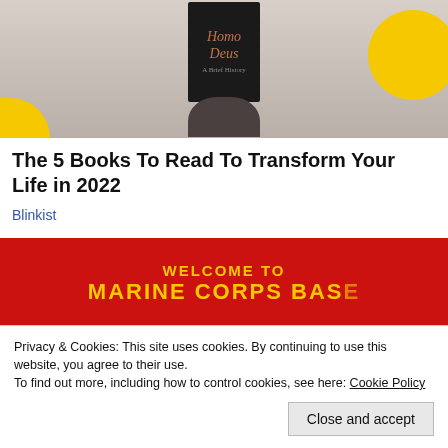[Figure (photo): Person holding a black book titled 'Homo Deus: A Brief History' in front of their face, with yellow decorative circles in background]
The 5 Books To Read To Transform Your Life in 2022
Blinkist
[Figure (photo): Red Marine Corps Base welcome sign with yellow lettering reading 'WELCOME TO MARINE CORPS BASE']
Privacy & Cookies: This site uses cookies. By continuing to use this website, you agree to their use.
To find out more, including how to control cookies, see here: Cookie Policy
Close and accept